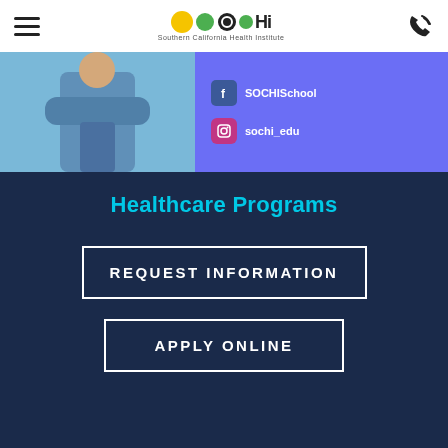[Figure (logo): SOCHi - Southern California Health Institute logo with colorful circles and text]
[Figure (photo): Banner with healthcare worker in blue scrubs with arms crossed, and social media handles SOCHISchool (Facebook) and sochi_edu (Instagram) on purple background]
Healthcare Programs
REQUEST INFORMATION
APPLY ONLINE